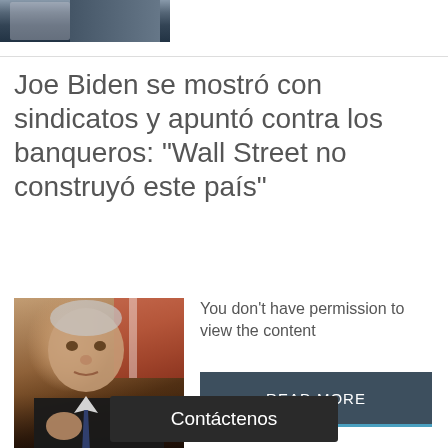[Figure (photo): Partial photo of a person in suit and tie at top of page]
Joe Biden se mostró con sindicatos y apuntó contra los banqueros: "Wall Street no construyó este país"
[Figure (photo): Photo of Joe Biden gesturing with hand, American flag in background]
You don't have permission to view the content
READ MORE
Contáctenos